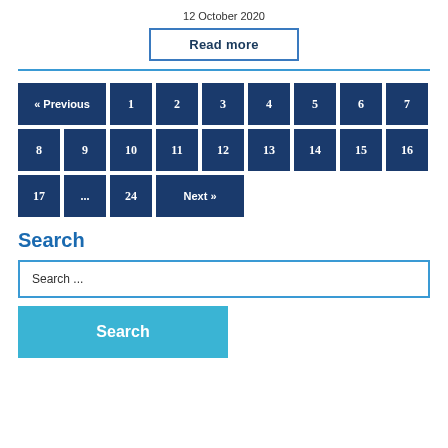12 October 2020
Read more
« Previous 1 2 3 4 5 6 7 8 9 10 11 12 13 14 15 16 17 ... 24 Next »
Search
Search ...
Search